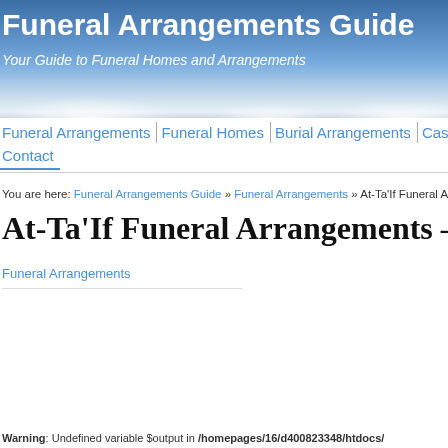[Figure (screenshot): Website header banner with sky/clouds background showing 'Funeral Arrangements Guide' title and subtitle 'Your Guide to Funeral Homes and Arrangements']
Funeral Arrangements Guide
Your Guide to Funeral Homes and Arrangements
Funeral Arrangements | Funeral Homes | Burial Arrangements | Caskets | Urns | Contact
You are here: Funeral Arrangements Guide » Funeral Arrangements » At-Ta'If Funeral Arrangements –
At-Ta'If Funeral Arrangements – At-Ta'If Fune
Funeral Arrangements
Warning: Undefined variable $output in /homepages/16/d400823348/htdocs/